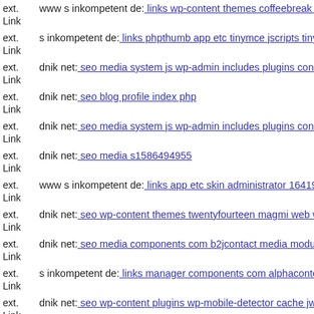ext. Link www s inkompetent de: links wp-content themes coffeebreak s
ext. Link s inkompetent de: links phpthumb app etc tinymce jscripts tiny
ext. Link dnik net: seo media system js wp-admin includes plugins conte
ext. Link dnik net: seo blog profile index php
ext. Link dnik net: seo media system js wp-admin includes plugins conte
ext. Link dnik net: seo media s1586494955
ext. Link www s inkompetent de: links app etc skin administrator 16419
ext. Link dnik net: seo wp-content themes twentyfourteen magmi web w
ext. Link dnik net: seo media components com b2jcontact media module
ext. Link s inkompetent de: links manager components com alphacontent
ext. Link dnik net: seo wp-content plugins wp-mobile-detector cache jwa
ext. Link ...